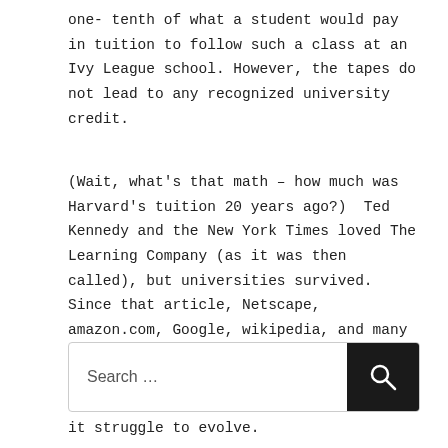one- tenth of what a student would pay in tuition to follow such a class at an Ivy League school. However, the tapes do not lead to any recognized university credit.
(Wait, what's that math – how much was Harvard's tuition 20 years ago?)  Ted Kennedy and the New York Times loved The Learning Company (as it was then called), but universities survived.   Since that article, Netscape, amazon.com, Google, wikipedia, and many others have transformed the landscape of nearly every industry.  It will be great fun to watch higher education as we know it struggle to evolve.